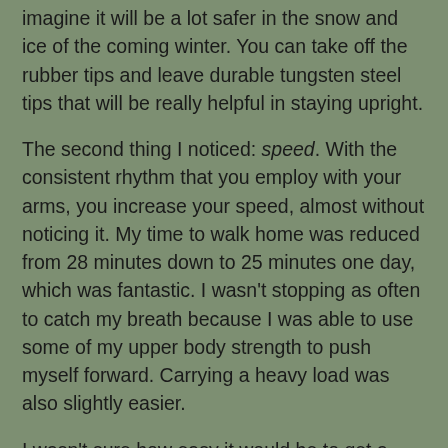imagine it will be a lot safer in the snow and ice of the coming winter. You can take off the rubber tips and leave durable tungsten steel tips that will be really helpful in staying upright.
The second thing I noticed: speed. With the consistent rhythm that you employ with your arms, you increase your speed, almost without noticing it. My time to walk home was reduced from 28 minutes down to 25 minutes one day, which was fantastic. I wasn't stopping as often to catch my breath because I was able to use some of my upper body strength to push myself forward. Carrying a heavy load was also slightly easier.
I wasn't sure how easy it would be to get a good rhythm going, and to avoid tripping over the poles. As it happened, the rhythm came naturally (two steps for every pole movement) and they are lightweight enough that they are easy to place accurately, even when walking at a normal speed. So far I've only had one minor incident when the flip lock wasn't tight enough (hence the adjustable thumb screw) and the pole shortened itself while I was putting weight